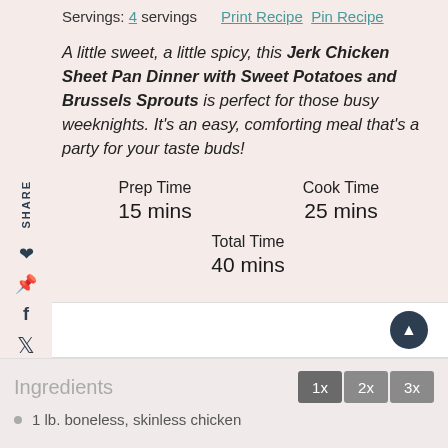Servings: 4 servings   Print Recipe  Pin Recipe
A little sweet, a little spicy, this Jerk Chicken Sheet Pan Dinner with Sweet Potatoes and Brussels Sprouts is perfect for those busy weeknights. It's an easy, comforting meal that's a party for your taste buds!
| Prep Time | Cook Time |
| 15 mins | 25 mins |
| Total Time |  |
| 40 mins |  |
Ingredients
1 lb. boneless, skinless chicken